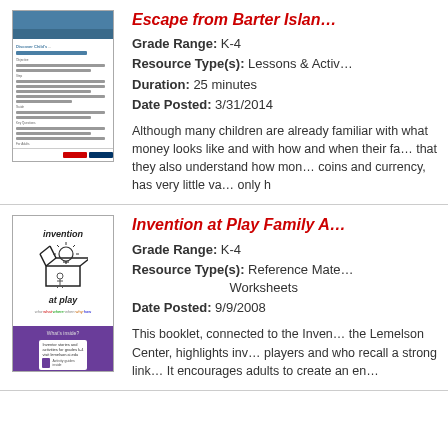[Figure (illustration): Thumbnail preview of 'Escape from Barter Island' document with blue header and text lines]
Escape from Barter Island
Grade Range: K-4
Resource Type(s): Lessons & Activities
Duration: 25 minutes
Date Posted: 3/31/2014
Although many children are already familiar with what money looks like and with how and when their families use it, it is important that they also understand how money came to be. Money, unlike coins and currency, has very little value in and of itself—it only h
[Figure (illustration): Thumbnail of 'Invention at Play Family Activity' booklet with white top section showing box/invention icon and purple bottom section]
Invention at Play Family Activity
Grade Range: K-4
Resource Type(s): Reference Materials & Worksheets
Date Posted: 9/9/2008
This booklet, connected to the Invention at Play exhibition by the Lemelson Center, highlights inventors who were avid players and who recall a strong link between playing and inventing. It encourages adults to create an en